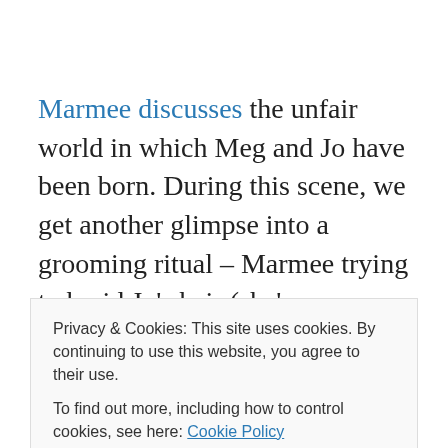Marmee discusses the unfair world in which Meg and Jo have been born. During this scene, we get another glimpse into a grooming ritual – Marmee trying to braid Jo's hair (she's so figity!). I always loved this scene 1) because it reminded me of me and my mother when she used to comb out my hair and 2) Marmee is so wise about how women are treated in society, but she also very gently reminds Meg that she is more than just a pretty face and
Privacy & Cookies: This site uses cookies. By continuing to use this website, you agree to their use.
To find out more, including how to control cookies, see here: Cookie Policy
mother, sister, friend). It's a struggle we're still slowing